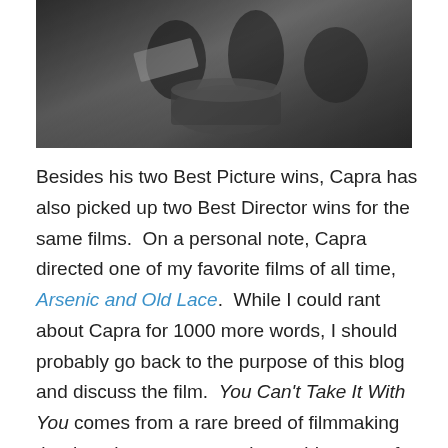[Figure (photo): Black and white photograph showing people, likely a still from a classic film]
Besides his two Best Picture wins, Capra has also picked up two Best Director wins for the same films.  On a personal note, Capra directed one of my favorite films of all time, Arsenic and Old Lace.  While I could rant about Capra for 1000 more words, I should probably go back to the purpose of this blog and discuss the film.  You Can't Take It With You comes from a rare breed of filmmaking that has the power to evoke a wide array of emotions in a viewer.  I was laughing, I was happy, I was sad, I was angry. It was as if I was a marionette and Capra stood above me as a puppeteer who manipulated my emotional responses for the entire 126 minutes of the film's running